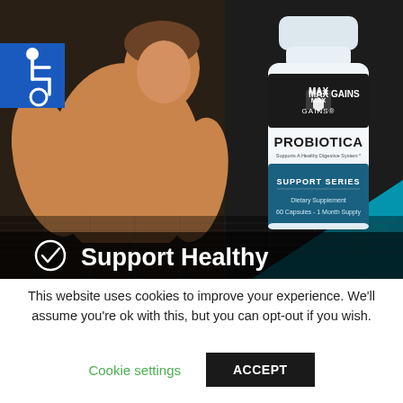[Figure (photo): Advertisement for Max Gains Probiotica supplement. Shows a muscular shirtless male athlete on dark background with a white supplement bottle (Max Gains Probiotica - Support Series, Dietary Supplement, 60 Capsules 1 Month Supply). Blue accessibility icon in top-left corner. Text at bottom reads 'Support Healthy' with a checkmark.]
This website uses cookies to improve your experience. We'll assume you're ok with this, but you can opt-out if you wish.
Cookie settings   ACCEPT